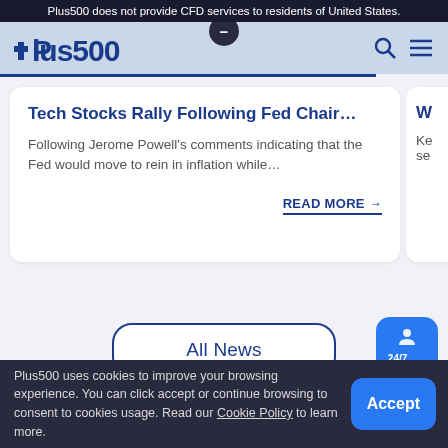Plus500 does not provide CFD services to residents of United States.
[Figure (screenshot): Plus500 logo and navigation bar with search and menu icons]
Tech Stocks Rally Following Fed Chair...
Following Jerome Powell's comments indicating that the Fed would move to rein in inflation while...
READ MORE →
W
Ke
se
All News
24/7 Support
Plus500 uses cookies to improve your browsing experience. You can click accept or continue browsing to consent to cookies usage. Read our Cookie Policy to learn more.
Accept